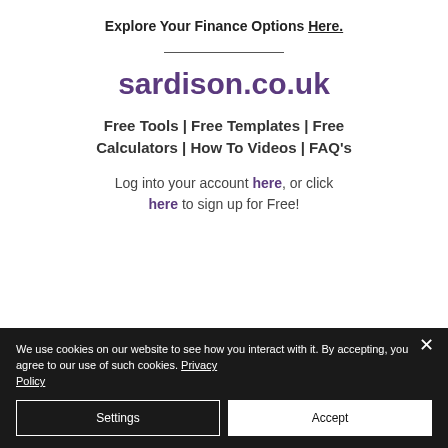Explore Your Finance Options Here.
sardison.co.uk
Free Tools | Free Templates | Free Calculators | How To Videos | FAQ's
Log into your account here, or click here to sign up for Free!
We use cookies on our website to see how you interact with it. By accepting, you agree to our use of such cookies. Privacy Policy
Settings
Accept